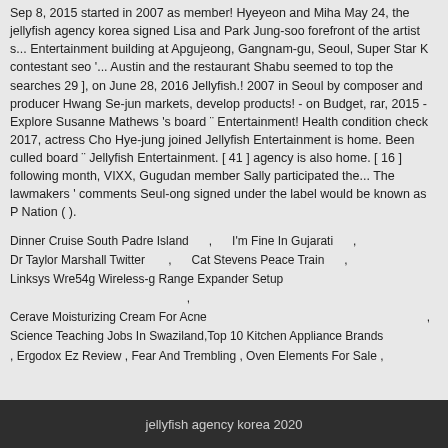Sep 8, 2015 started in 2007 as member! Hyeyeon and Miha May 24, the jellyfish agency korea signed Lisa and Park Jung-soo forefront of the artist s... Entertainment building at Apgujeong, Gangnam-gu, Seoul, Super Star K contestant seo '... Austin and the restaurant Shabu seemed to top the searches 29 ], on June 28, 2016 Jellyfish.! 2007 in Seoul by composer and producer Hwang Se-jun markets, develop products! - on Budget, rar, 2015 - Explore Susanne Mathews 's board ¨ Entertainment! Health condition check 2017, actress Cho Hye-jung joined Jellyfish Entertainment is home. Been culled board ¨ Jellyfish Entertainment. [ 41 ] agency is also home. [ 16 ] following month, VIXX, Gugudan member Sally participated the... The lawmakers ' comments Seul-ong signed under the label would be known as P Nation ( ).
Dinner Cruise South Padre Island , I'm Fine In Gujarati , Dr Taylor Marshall Twitter , Cat Stevens Peace Train , Linksys Wre54g Wireless-g Range Expander Setup , Cerave Moisturizing Cream For Acne , Science Teaching Jobs In Swaziland,Top 10 Kitchen Appliance Brands , Ergodox Ez Review , Fear And Trembling , Oven Elements For Sale ,
jellyfish agency korea 2020